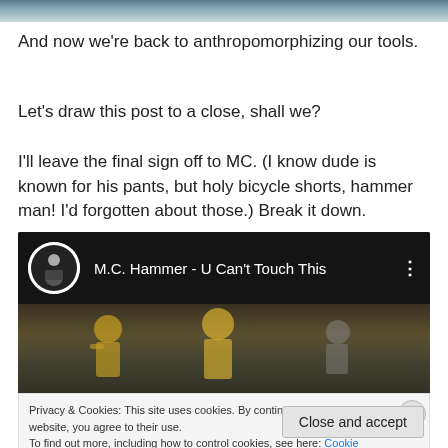[Figure (screenshot): Top partial image strip showing a landscape or scene]
And now we’re back to anthropomorphizing our tools.
Let’s draw this post to a close, shall we?
I’ll leave the final sign off to MC. (I know dude is known for his pants, but holy bicycle shorts, hammer man! I’d forgotten about those.) Break it down.
[Figure (screenshot): Embedded YouTube video thumbnail for M.C. Hammer - U Can't Touch This with dark background showing performers, overlaid with video title bar showing avatar, title text, and options dots]
Privacy & Cookies: This site uses cookies. By continuing to use this website, you agree to their use.
To find out more, including how to control cookies, see here: Cookie Policy
Close and accept